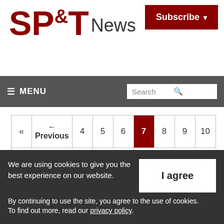[Figure (logo): SP&T News logo with large red bold letters SP and T, and smaller black text News]
[Figure (screenshot): Subscribe button with dark red background and white text]
≡ MENU   Search
« ← Previous 4 5 6 7 8 9 10 Next → »
We are using cookies to give you the best experience on our website. By continuing to use the site, you agree to the use of cookies. To find out more, read our privacy policy.